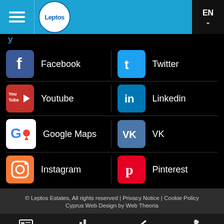Leptos EN
Facebook
Twitter
Youtube
Linkedin
Google Maps
VK
Instagram
Pinterest
© Leptos Estates, All rights reserved | Privacy Notice | Cookie Policy
Cyprus Web Design by Web Theoria
Projects | Properties | Enquire Now | Call Us